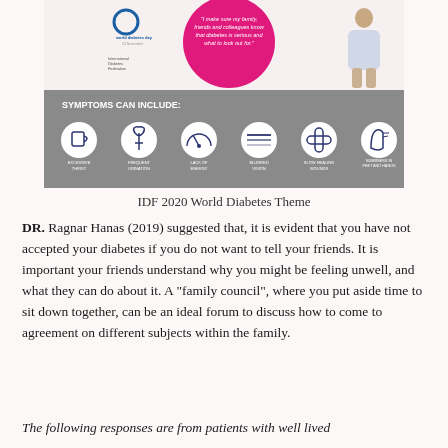[Figure (infographic): IDF World Diabetes Day infographic showing a quote bubble 'I make sure my family, friends and colleagues know that diabetes is serious and what to look out for.' with a person standing, IDF logo, and a grey panel listing symptoms: Excessive Thirst, Frequent Urination, Lack of Energy, Blurred Vision, Slow Healing Wounds, Numbness in Feet and Hands with circular icons.]
IDF 2020 World Diabetes Theme
DR. Ragnar Hanas (2019) suggested that, it is evident that you have not accepted your diabetes if you do not want to tell your friends. It is important your friends understand why you might be feeling unwell, and what they can do about it. A "family council", where you put aside time to sit down together, can be an ideal forum to discuss how to come to agreement on different subjects within the family.
The following responses are from patients with well lived